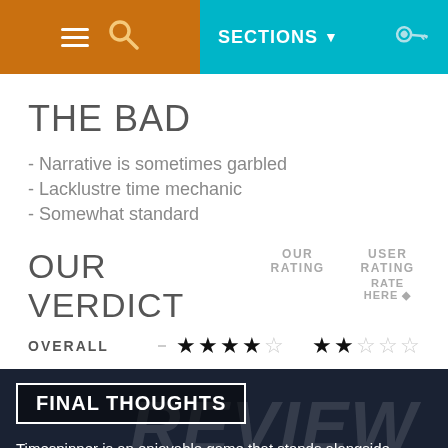SECTIONS
THE BAD
- Narrative is sometimes garbled
- Lacklustre time mechanic
- Somewhat standard
OUR VERDICT
OUR RATING | USER RATING | RATE HERE
OVERALL — 4 stars (our rating), 2 stars (user rating)
FINAL THOUGHTS
Timespinner is an enjoyable game that stands alongside other good Metroidvanias, but not above